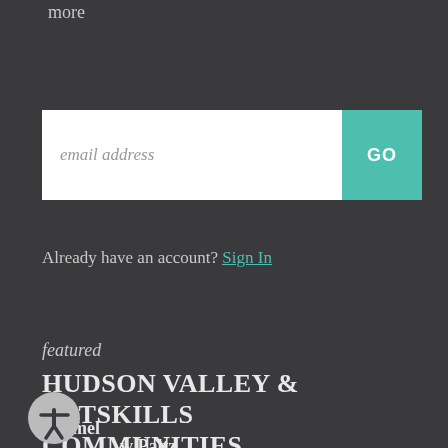more
[Figure (other): Email address input field with GO button in teal/turquoise color]
Already have an account? Sign In
featured
HUDSON VALLEY & CATSKILLS COMMUNITIES
Carmel
w Paltz